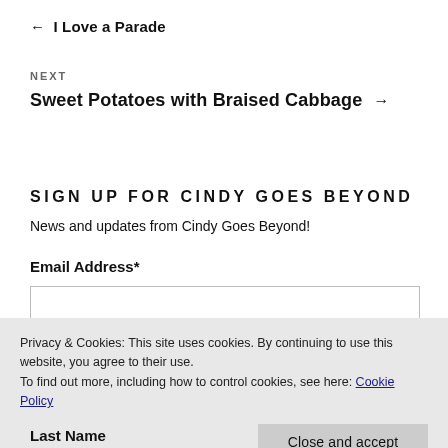← I Love a Parade
NEXT
Sweet Potatoes with Braised Cabbage →
SIGN UP FOR CINDY GOES BEYOND
News and updates from Cindy Goes Beyond!
Email Address*
Privacy & Cookies: This site uses cookies. By continuing to use this website, you agree to their use.
To find out more, including how to control cookies, see here: Cookie Policy
Close and accept
Last Name